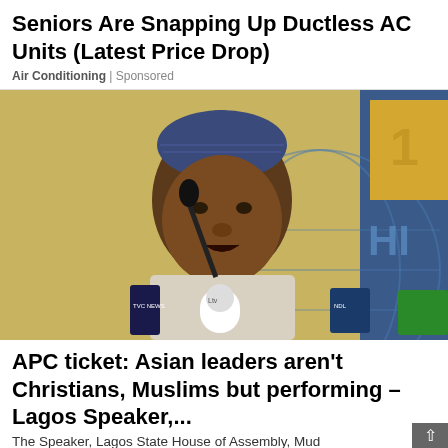Seniors Are Snapping Up Ductless AC Units (Latest Price Drop)
Air Conditioning | Sponsored
[Figure (photo): A man in a traditional Nigerian cap and embroidered attire speaking at a press conference with multiple microphones in front of him, including TVC News, Ltv, and other TV station microphones. Background shows a yellow and blue decorative display.]
APC ticket: Asian leaders aren't Christians, Muslims but performing – Lagos Speaker,...
The Speaker, Lagos State House of Assembly, Mud